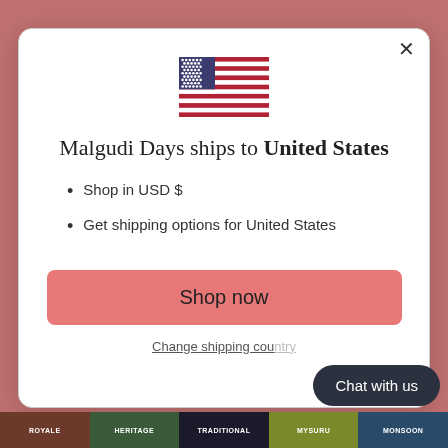[Figure (illustration): US flag emoji / icon shown centered in modal]
Malgudi Days ships to United States
Shop in USD $
Get shipping options for United States
Shop now
Change shipping country
Chat with us